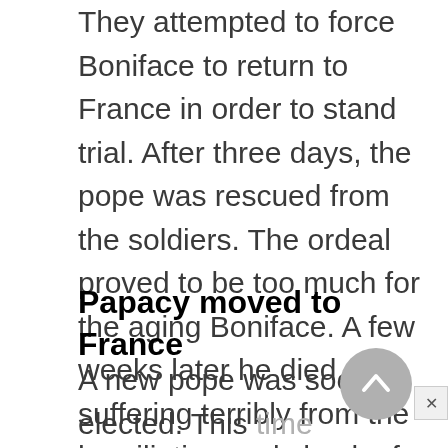They attempted to force Boniface to return to France in order to stand trial. After three days, the pope was rescued from the soldiers. The ordeal proved to be too much for the aging Boniface. A few weeks later he died, suffering terribly from the humiliation and shock of the events.
Papacy moved to France
A new pope was soon elected. This time Bertrand de Got (pronounced deh GOH; c. 1260–1314), a Frenchman,